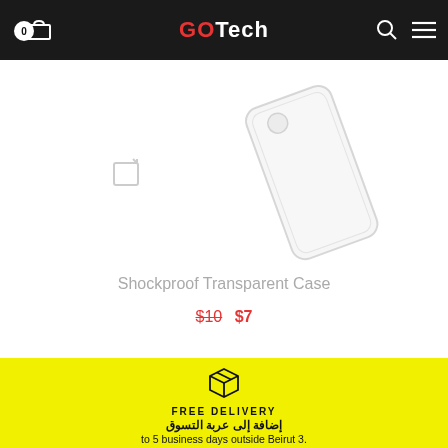GOTech - 0 cart items
[Figure (photo): Shockproof transparent phone case product image, angled view, mostly white/clear]
Shockproof Transparent Case
$10  $7
[Figure (illustration): 3D box/package icon in black outline on yellow background]
FREE DELIVERY
إضافة إلى عربة التسوق
.to 5 business days outside Beirut 3